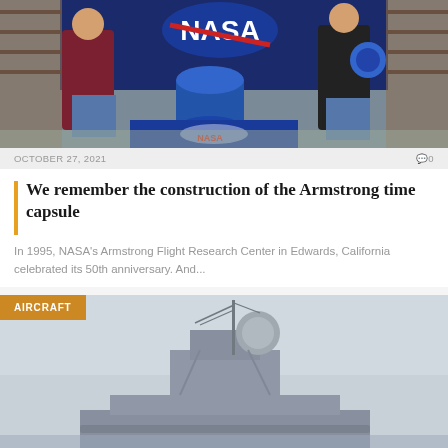[Figure (photo): Two people standing in front of a NASA backdrop with a blue cylindrical time capsule on a table draped with a NASA logo tablecloth. The person on the left wears a maroon shirt, the person on the right wears a black shirt and holds a blue disc. Shelves with books and artifacts are visible in the background.]
OCTOBER 27, 2021   🗨 0
We remember the construction of the Armstrong time capsule
In 1995, NASA's Armstrong Flight Research Center in Edwards, California celebrated its 50th anniversary. And...
[Figure (photo): A military warship photographed against a hazy gray sky. The superstructure with radar dome, mast, and antennas is visible. An 'AIRCRAFT' category badge appears in the top-left corner of the image.]